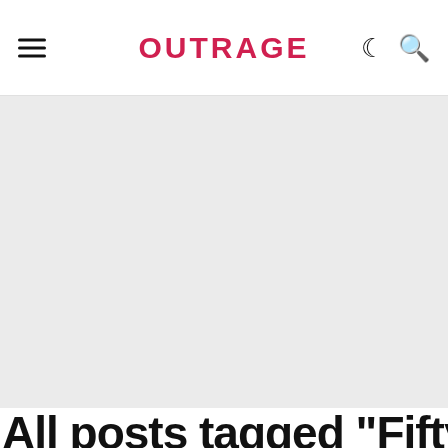OUTRAGE
[Figure (other): Large light gray rectangular content area below the header, representing an advertisement or image placeholder]
All posts tagged "Fifty Shades of